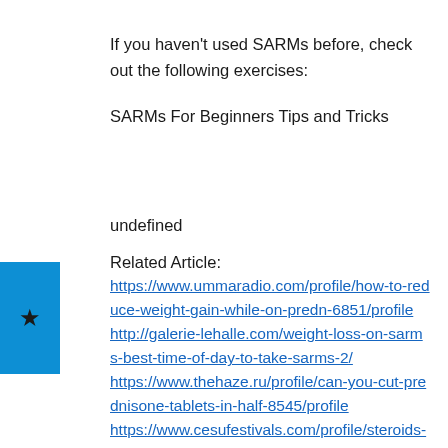If you haven't used SARMs before, check out the following exercises:
SARMs For Beginners Tips and Tricks
undefined
Related Article:
https://www.ummaradio.com/profile/how-to-reduce-weight-gain-while-on-predn-6851/profile http://galerie-lehalle.com/weight-loss-on-sarms-best-time-of-day-to-take-sarms-2/ https://www.thehaze.ru/profile/can-you-cut-prednisone-tablets-in-half-8545/profile https://www.cesufestivals.com/profile/steroids-for-bulking-and-cutting-best-s-1598/profile